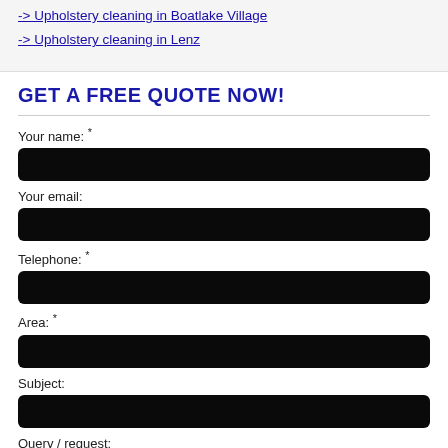-> Upholstery cleaning in Boatlake Village
-> Upholstery cleaning in Lenz
GET A FREE QUOTE NOW!
Your name: *
Your email:
Telephone: *
Area: *
Subject:
Query / request: